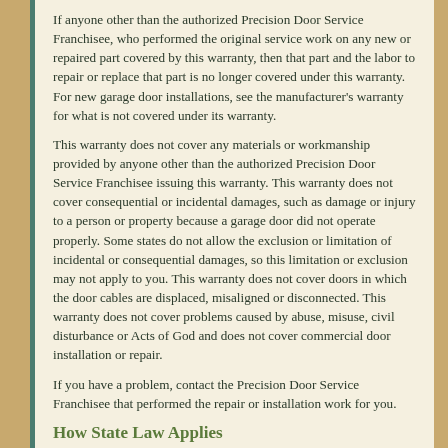If anyone other than the authorized Precision Door Service Franchisee, who performed the original service work on any new or repaired part covered by this warranty, then that part and the labor to repair or replace that part is no longer covered under this warranty. For new garage door installations, see the manufacturer's warranty for what is not covered under its warranty.
This warranty does not cover any materials or workmanship provided by anyone other than the authorized Precision Door Service Franchisee issuing this warranty. This warranty does not cover consequential or incidental damages, such as damage or injury to a person or property because a garage door did not operate properly. Some states do not allow the exclusion or limitation of incidental or consequential damages, so this limitation or exclusion may not apply to you. This warranty does not cover doors in which the door cables are displaced, misaligned or disconnected. This warranty does not cover problems caused by abuse, misuse, civil disturbance or Acts of God and does not cover commercial door installation or repair.
If you have a problem, contact the Precision Door Service Franchisee that performed the repair or installation work for you.
How State Law Applies
This warranty gives you specific legal rights, and you may have other rights that vary from state to state. This invoice is your receipt